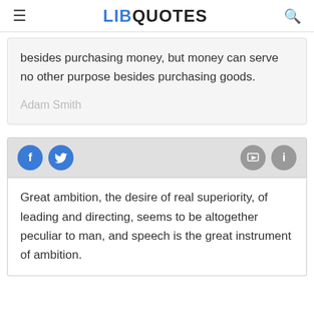LIBQUOTES
besides purchasing money, but money can serve no other purpose besides purchasing goods.
Adam Smith
[Figure (screenshot): Social action bar with Facebook, Twitter, image, and info icon buttons]
Great ambition, the desire of real superiority, of leading and directing, seems to be altogether peculiar to man, and speech is the great instrument of ambition.